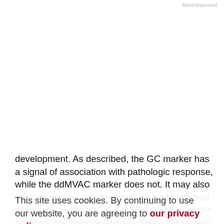Advertisement
development. As described, the GC marker has a signal of association with pathologic response, while the ddMVAC marker does not. It may also be possible that the observed modest statistical association with the GC COXEN score is a false positive. We observed an absolute difference in pT0 rate between favorable GC GEM and unfavorable of only 13% (44% vs. 31%; Table 2) while the study was adequately powered for differences in the range of 30%. Samples from 7 individuals were assessed in each of the two cohorts for both the MVAC and GC biomarkers; notably, four of 14 determinations were discrepant
This site uses cookies. By continuing to use our website, you are agreeing to our privacy policy. Accept